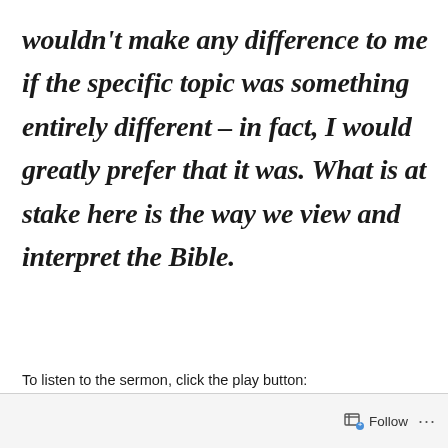wouldn't make any difference to me if the specific topic was something entirely different – in fact, I would greatly prefer that it was. What is at stake here is the way we view and interpret the Bible.
To listen to the sermon, click the play button:
[Figure (other): Footer bar with Follow button (icon + text) and a three-dot more menu]